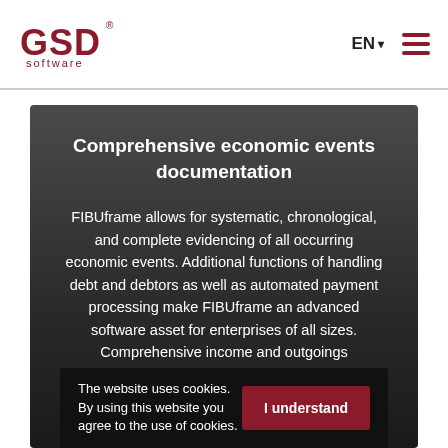[Figure (logo): GSD Software logo — red GSD letters with registered trademark symbol above, 'software' in smaller red text below]
EN ▾
[Figure (illustration): Hamburger menu icon — three horizontal dark red bars]
Comprehensive economic events documentation
FIBUframe allows for systematic, chronological, and complete evidencing of all occurring economic events. Additional functions of handling debt and debtors as well as automated payment processing make FIBUframe an advanced software asset for enterprises of all sizes. Comprehensive income and outgoings functionalities make this system your business
The website uses cookies. By using this website you agree to the use of cookies.
I understand